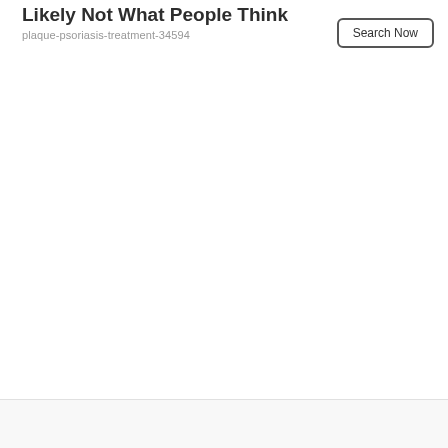Likely Not What People Think
plaque-psoriasis-treatment-34594
Search Now